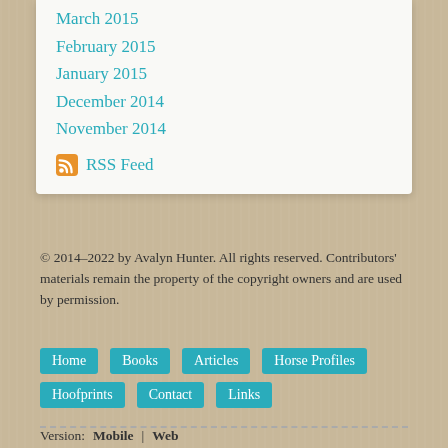March 2015
February 2015
January 2015
December 2014
November 2014
RSS Feed
© 2014-2022 by Avalyn Hunter. All rights reserved. Contributors' materials remain the property of the copyright owners and are used by permission.
Home | Books | Articles | Horse Profiles | Hoofprints | Contact | Links
Version: Mobile | Web